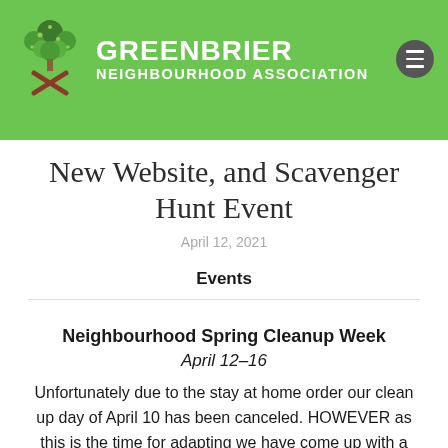[Figure (logo): Greenbrier Neighbourhood Association logo with tree and figure icon on green background header]
New Website, and Scavenger Hunt Event
April 12, 2021
Events
Neighbourhood Spring Cleanup Week
April 12–16
Unfortunately due to the stay at home order our clean up day of April 10 has been canceled. HOWEVER as this is the time for adapting we have come up with a great way to still go ahead!! Join us as we clean up our neighbourhood